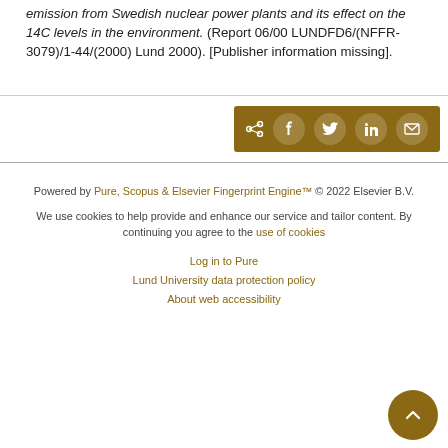emission from Swedish nuclear power plants and its effect on the 14C levels in the environment. (Report 06/00 LUNDFD6/(NFFR-3079)/1-44/(2000) Lund 2000). [Publisher information missing].
[Figure (other): Social share buttons bar with icons for share, Facebook, Twitter, LinkedIn, and email on a brown/gold background]
Powered by Pure, Scopus & Elsevier Fingerprint Engine™ © 2022 Elsevier B.V.
We use cookies to help provide and enhance our service and tailor content. By continuing you agree to the use of cookies
Log in to Pure
Lund University data protection policy
About web accessibility